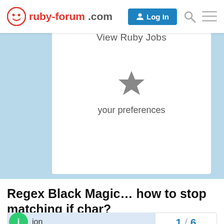ruby-forum.com
View Ruby Jobs
[Figure (illustration): Star icon (preferences/bookmarks)]
your preferences
Regex Black Magic… how to stop matching if char?
Ruby
jon
1 / 6